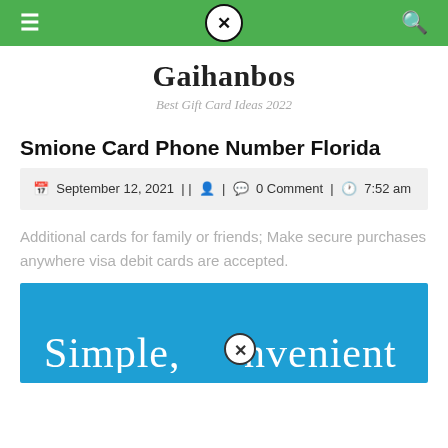Gaihanbos — navigation bar with menu, close, and search icons
Gaihanbos
Best Gift Card Ideas 2022
Smione Card Phone Number Florida
September 12, 2021 | | 0 Comment | 7:52 am
Additional cards for family or friends; Make secure purchases anywhere visa debit cards are accepted.
[Figure (screenshot): Blue banner with text 'Simple, convenient' and a close/X icon in the middle of the word 'convenient']